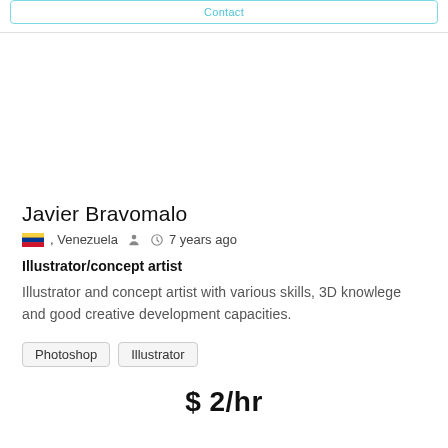Contact
Javier Bravomalo
🇻🇪 , Venezuela  🧑  🕐 7 years ago
Illustrator/concept artist
Illustrator and concept artist with various skills, 3D knowlege and good creative development capacities.
Photoshop
Illustrator
$ 2/hr